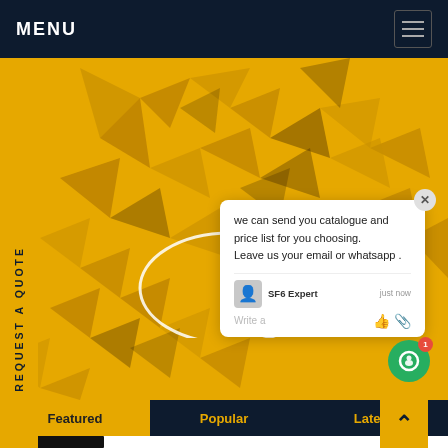MENU
[Figure (screenshot): Yellow low-poly geometric hero image with a world map pattern in darker yellow/black shapes]
REQUEST A QUOTE
we can send you catalogue and price list for you choosing.
Leave us your email or whatsapp .
SF6 Expert   just now
Write a
Featured
Popular
Latest